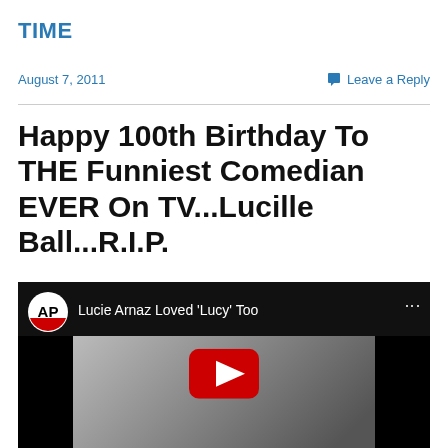TIME
August 7, 2011
Leave a Reply
Happy 100th Birthday To THE Funniest Comedian EVER On TV...Lucille Ball...R.I.P.
[Figure (screenshot): YouTube video embed showing AP logo and title 'Lucie Arnaz Loved Lucy Too' with a black and white image of a person in a chef's hat and a YouTube play button overlay]